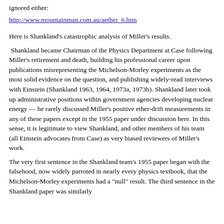ignored either:
http://www.mountainman.com.au/aether_6.htm
Here is Shankland's catastrophic analysis of Miller's results.
Shankland became Chairman of the Physics Department at Case following Miller's retirement and death, building his professional career upon publications misrepresenting the Michelson-Morley experiments as the most solid evidence on the question, and publishing widely-read interviews with Einstein (Shankland 1963, 1964, 1973a, 1973b). Shankland later took up administrative positions within government agencies developing nuclear energy — he rarely discussed Miller's positive ether-drift measurements in any of these papers except in the 1955 paper under discussion here. In this sense, it is legitimate to view Shankland, and other members of his team (all Einstein advocates from Case) as very biased reviewers of Miller's work.
The very first sentence in the Shankland team's 1955 paper began with the falsehood, now widely parroted in nearly every physics textbook, that the Michelson-Morley experiments had a "null" result. The third sentence in the Shankland paper was similarly